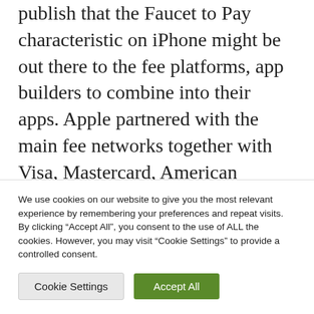publish that the Faucet to Pay characteristic on iPhone might be out there to the fee platforms, app builders to combine into their apps. Apple partnered with the main fee networks together with Visa, Mastercard, American Categorical and Uncover for the contactless funds characteristic.
The brand new guidelines require retailers like Apple to arrange an e-mandate for buyer
We use cookies on our website to give you the most relevant experience by remembering your preferences and repeat visits. By clicking "Accept All", you consent to the use of ALL the cookies. However, you may visit "Cookie Settings" to provide a controlled consent.